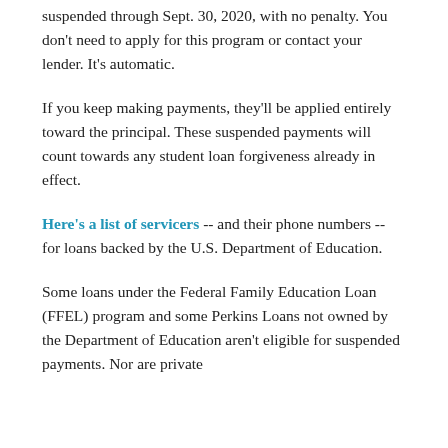suspended through Sept. 30, 2020, with no penalty. You don't need to apply for this program or contact your lender. It's automatic.
If you keep making payments, they'll be applied entirely toward the principal. These suspended payments will count towards any student loan forgiveness already in effect.
Here's a list of servicers -- and their phone numbers -- for loans backed by the U.S. Department of Education.
Some loans under the Federal Family Education Loan (FFEL) program and some Perkins Loans not owned by the Department of Education aren't eligible for suspended payments. Nor are private